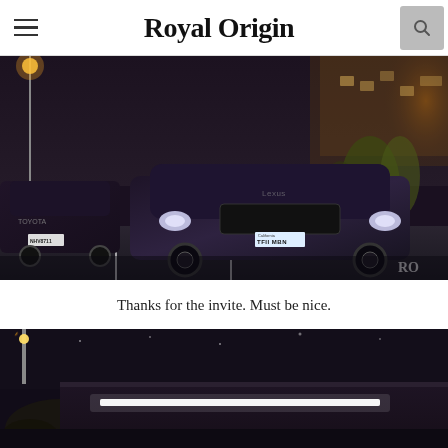Royal Origin
[Figure (photo): Night parking lot photo of a lowered dark purple/black Lexus GS with California license plate 'TFII MBN', parked next to a dark Toyota. Greenery and orange-lit building visible in background. Royal Origin watermark in bottom right corner.]
Thanks for the invite. Must be nice.
[Figure (photo): Night exterior photo showing a building with bright white lights and string lights along the roofline, with a street lamp visible on the left side.]